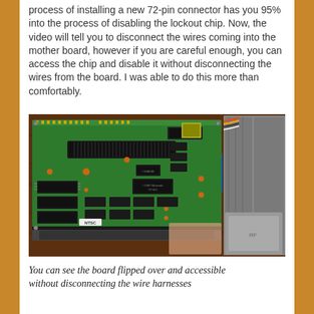process of installing a new 72-pin connector has you 95% into the process of disabling the lockout chip. Now, the video will tell you to disconnect the wires coming into the mother board, however if you are careful enough, you can access the chip and disable it without disconnecting the wires from the board. I was able to do this more than comfortably.
[Figure (photo): Photo of a NES (Nintendo Entertainment System) motherboard flipped over and resting outside the console casing. The green circuit board shows multiple chips, a 72-pin cartridge connector slot, capacitors, and is labeled 'NTSC'. Blue cylindrical components and a metal RF shield are visible on the right. The board is resting on a wooden surface.]
You can see the board flipped over and accessible without disconnecting the wire harnesses